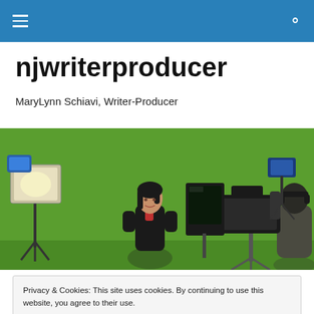njwriterproducer — navigation bar with hamburger menu and search icon
njwriterproducer
MaryLynn Schiavi, Writer-Producer
[Figure (photo): Studio scene with green screen background, a woman in a black jacket standing in the center, professional studio lighting on the left, and a camera operator with professional video camera and teleprompter on the right.]
Privacy & Cookies: This site uses cookies. By continuing to use this website, you agree to their use.
To find out more, including how to control cookies, see here: Cookie Policy
[Close and accept]